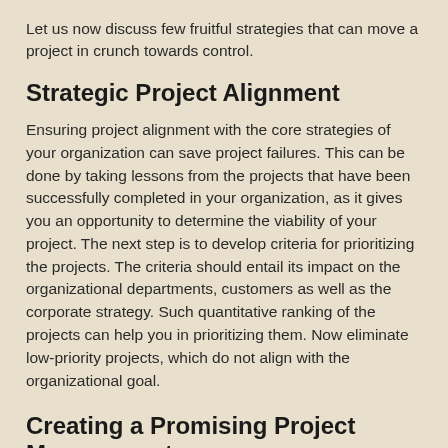Let us now discuss few fruitful strategies that can move a project in crunch towards control.
Strategic Project Alignment
Ensuring project alignment with the core strategies of your organization can save project failures. This can be done by taking lessons from the projects that have been successfully completed in your organization, as it gives you an opportunity to determine the viability of your project. The next step is to develop criteria for prioritizing the projects. The criteria should entail its impact on the organizational departments, customers as well as the corporate strategy. Such quantitative ranking of the projects can help you in prioritizing them. Now eliminate low-priority projects, which do not align with the organizational goal.
Creating a Promising Project Management Environment
This is as good as setting up your own PMO without that